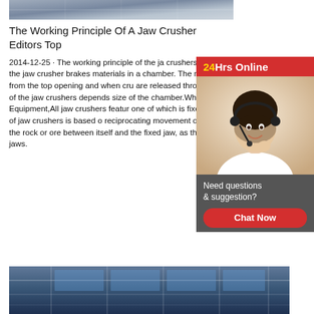[Figure (photo): Top image showing industrial/machinery scene, partial view]
The Working Principle Of A Jaw Crusher Editors Top
2014-12-25 · The working principle of the jaw crushers is very simple. Powered by a diesel motor, the jaw crusher brakes materials in a chamber. The materials are pushed inside the chamber from the top opening and when crushed are released through the bottom opening. The crushing power of the jaw crushers depends on size of the chamber.What is a Jaw Crusher? Crushing Equipment,All jaw crushers feature two jaws, one of which is fixed while the other moves. The working principle of jaw crushers is based on the reciprocating movement of the movable jaw that compresses and crushes the rock or ore between itself and the fixed jaw, as the material enters the zone between the jaws.
[Figure (photo): Bottom image showing industrial building interior with blue steel structure and large windows]
[Figure (infographic): Sidebar: 24Hrs Online banner with customer service agent photo and chat widget saying 'Need questions & suggestion? Chat Now']